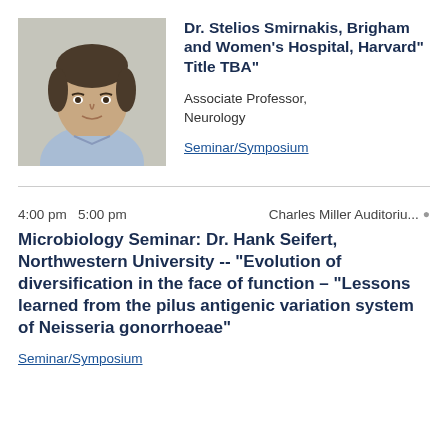[Figure (photo): Headshot photo of Dr. Stelios Smirnakis, a middle-aged man in a light blue shirt]
Dr. Stelios Smirnakis, Brigham and Women's Hospital, Harvard" Title TBA"
Associate Professor, Neurology
Seminar/Symposium
4:00 pm  5:00 pm   Charles Miller Auditoriu...
Microbiology Seminar: Dr. Hank Seifert, Northwestern University -- "Evolution of diversification in the face of function – "Lessons learned from the pilus antigenic variation system of Neisseria gonorrhoeae"
Seminar/Symposium